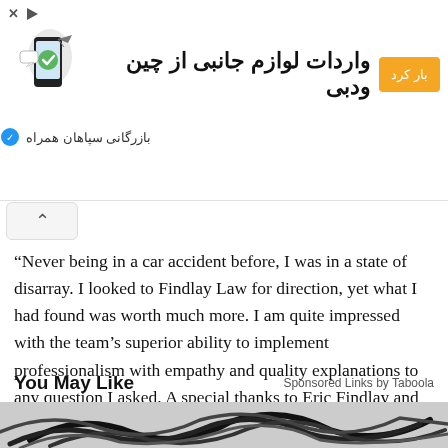[Figure (screenshot): Advertisement banner in Persian/Farsi for 'واردات لوازم جانبی از چین ودبی' (Import accessories from China and Dubai) with an orange CTA button, a phone graphic, and brand name 'بازرگانی سپاهان همراه']
“Never being in a car accident before, I was in a state of disarray. I looked to Findlay Law for direction, yet what I had found was worth much more. I am quite impressed with the team’s superior ability to implement professionalism with empathy and quality explanations to any question I asked. A special thanks to Eric Findlay and his associates Mandy and Britney for helping me through a very difficult time in my life.” – James Kyle Given
You May Like
Sponsored Links by Taboola
[Figure (photo): Black and white photo of what appears to be dark straps or cords on a light background]